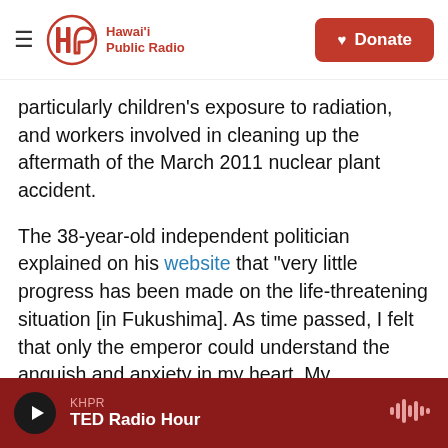Hawai'i Public Radio | Donate
particularly children's exposure to radiation, and workers involved in cleaning up the aftermath of the March 2011 nuclear plant accident.
The 38-year-old independent politician explained on his website that "very little progress has been made on the life-threatening situation [in Fukushima]. As time passed, I felt that only the emperor could understand the anguish and anxiety in my heart. My overwhelming love and respect for the emperor prompted me to write him."
An actor whose wide-ranging oeuvre runs from
KHPR | TED Radio Hour